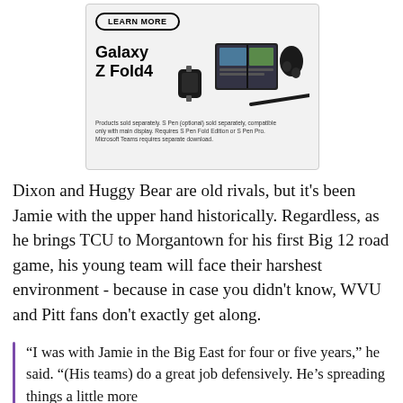[Figure (advertisement): Samsung Galaxy Z Fold4 advertisement showing the phone, a smartwatch, earbuds, and a stylus pen. Features a 'LEARN MORE' button at the top and product disclaimer text at the bottom.]
Dixon and Huggy Bear are old rivals, but it's been Jamie with the upper hand historically. Regardless, as he brings TCU to Morgantown for his first Big 12 road game, his young team will face their harshest environment - because in case you didn't know, WVU and Pitt fans don't exactly get along.
“I was with Jamie in the Big East for four or five years,” he said. “(His teams) do a great job defensively. He’s spreading things a little more